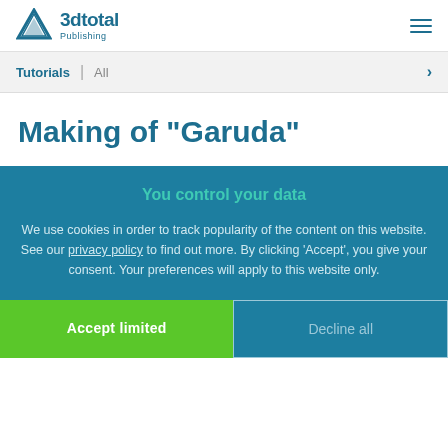3dtotal Publishing
Tutorials | All
Making of "Garuda"
You control your data
We use cookies in order to track popularity of the content on this website. See our privacy policy to find out more. By clicking 'Accept', you give your consent. Your preferences will apply to this website only.
Accept limited
Decline all